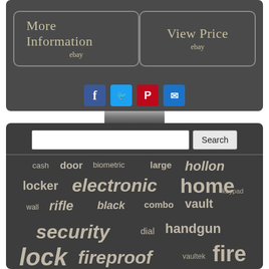[Figure (screenshot): Dark themed webpage section with two eBay buttons labeled 'More Information ebay' and 'View Price ebay', social sharing icons (Facebook, Twitter, Pinterest, Email), a search bar with Search button, and a word cloud containing safe-related keywords: cash, door, biometric, large, hollon, locker, electronic, home, keypad, wall, rifle, black, combo, vault, security, dial, handgun, lock, fireproof, vaultek, fire, stack-on, firearm, waterproof, pistol, safe, storage]